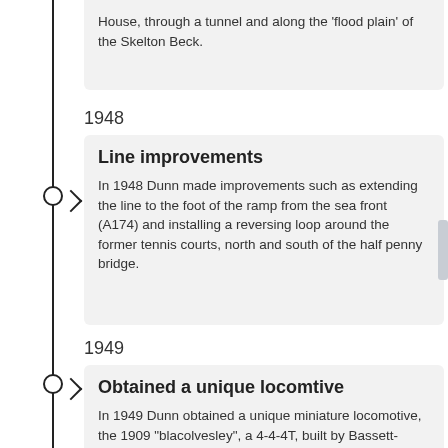House, through a tunnel and along the 'flood plain' of the Skelton Beck.
1948
Line improvements
In 1948 Dunn made improvements such as extending the line to the foot of the ramp from the sea front (A174) and installing a reversing loop around the former tennis courts, north and south of the half penny bridge.
1949
Obtained a unique locomtive
In 1949 Dunn obtained a unique miniature locomotive, the 1909 "blacolvesley", a 4-4-4T, built by Bassett-Lowke of Northhampton, which was later renamed